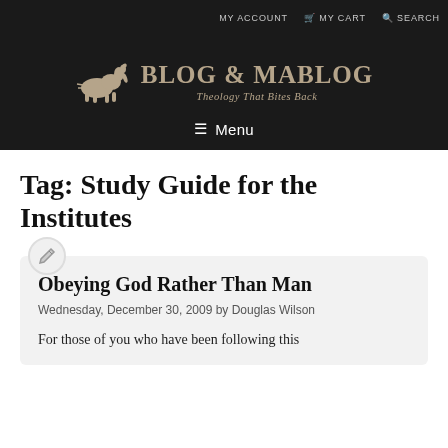MY ACCOUNT  MY CART  SEARCH
[Figure (logo): Blog & Mablog logo with dog silhouette and tagline 'Theology That Bites Back']
Tag: Study Guide for the Institutes
Obeying God Rather Than Man
Wednesday, December 30, 2009 by Douglas Wilson
For those of you who have been following this